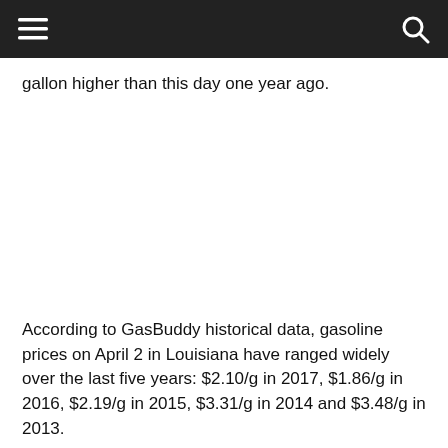gallon higher than this day one year ago.
According to GasBuddy historical data, gasoline prices on April 2 in Louisiana have ranged widely over the last five years: $2.10/g in 2017, $1.86/g in 2016, $2.19/g in 2015, $3.31/g in 2014 and $3.48/g in 2013.